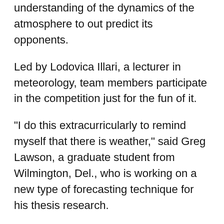understanding of the dynamics of the atmosphere to out predict its opponents.
Led by Lodovica Illari, a lecturer in meteorology, team members participate in the competition just for the fun of it.
"I do this extracurricularly to remind myself that there is weather," said Greg Lawson, a graduate student from Wilmington, Del., who is working on a new type of forecasting technique for his thesis research.
Lawson loved weather even as a child and remembers vividly the warnings that preceded Hurricane Gloria in 1985.